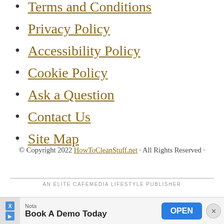Terms and Conditions
Privacy Policy
Accessibility Policy
Cookie Policy
Ask a Question
Contact Us
Site Map
© Copyright 2022 HowToCleanStuff.net · All Rights Reserved ·
AN ELITE CAFEMEDIA LIFESTYLE PUBLISHER